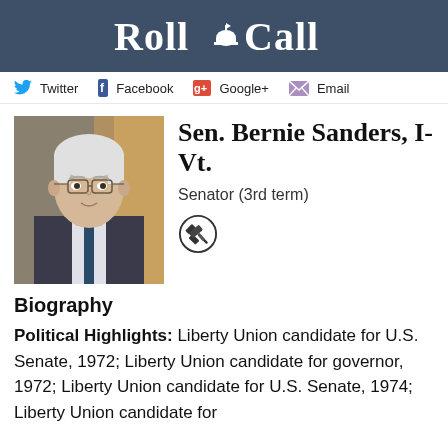Roll Call
Twitter  Facebook  Google+  Email
[Figure (photo): Portrait photo of Sen. Bernie Sanders, an older white-haired man wearing glasses and a suit, with an American flag in the background]
Sen. Bernie Sanders, I-Vt.
Senator (3rd term)
[Figure (illustration): Gavel icon inside a circle]
Biography
Political Highlights: Liberty Union candidate for U.S. Senate, 1972; Liberty Union candidate for governor, 1972; Liberty Union candidate for U.S. Senate, 1974; Liberty Union candidate for